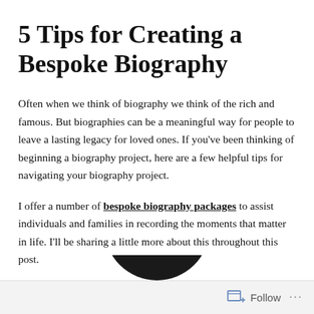5 Tips for Creating a Bespoke Biography
Often when we think of biography we think of the rich and famous. But biographies can be a meaningful way for people to leave a lasting legacy for loved ones. If you've been thinking of beginning a biography project, here are a few helpful tips for navigating your biography project.
I offer a number of bespoke biography packages to assist individuals and families in recording the moments that matter in life. I'll be sharing a little more about this throughout this post.
[Figure (photo): Bottom of a circular black-and-white portrait photo, partially visible at the bottom of the page.]
Follow ···